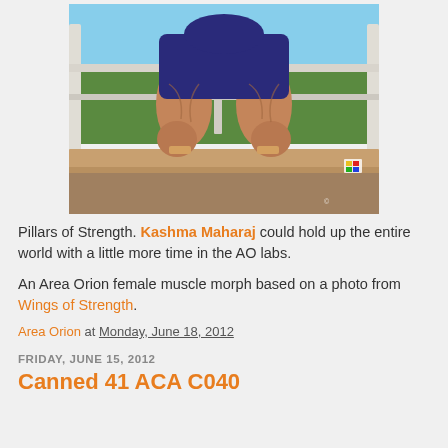[Figure (photo): A muscular woman standing on a raised wooden platform outdoors, photographed from behind, showing extremely muscular legs and thighs. She wears a dark blue outfit. Background shows green grass/reeds and a white fence structure with blue sky.]
Pillars of Strength. Kashma Maharaj could hold up the entire world with a little more time in the AO labs.
An Area Orion female muscle morph based on a photo from Wings of Strength.
Area Orion at Monday, June 18, 2012
FRIDAY, JUNE 15, 2012
Canned 41 ACA C040